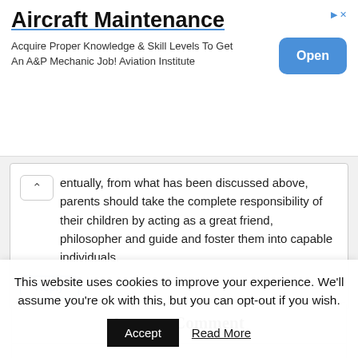[Figure (screenshot): Advertisement banner for Aircraft Maintenance with an Open button]
entually, from what has been discussed above, parents should take the complete responsibility of their children by acting as a great friend, philosopher and guide and foster them into capable individuals.
Reply
Leave a Comment
Comment
This website uses cookies to improve your experience. We'll assume you're ok with this, but you can opt-out if you wish.
Accept   Read More